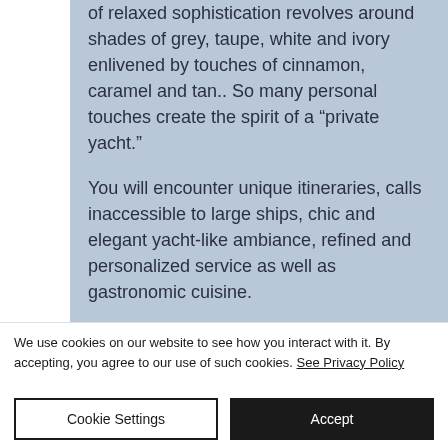of relaxed sophistication revolves around shades of grey, taupe, white and ivory enlivened by touches of cinnamon, caramel and tan.. So many personal touches create the spirit of a “private yacht.”

You will encounter unique itineraries, calls inaccessible to large ships, chic and elegant yacht-like ambiance, refined and personalized service as well as gastronomic cuisine.
We use cookies on our website to see how you interact with it. By accepting, you agree to our use of such cookies. See Privacy Policy
Cookie Settings
Accept